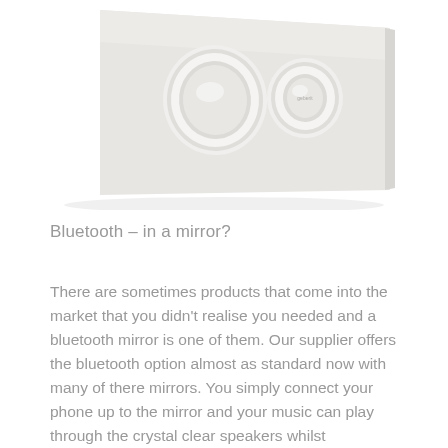[Figure (photo): Photo of a white toilet flush plate with two oval/round buttons on a light grey rectangular panel, photographed at an angle on a white background.]
Bluetooth – in a mirror?
There are sometimes products that come into the market that you didn't realise you needed and a bluetooth mirror is one of them. Our supplier offers the bluetooth option almost as standard now with many of there mirrors. You simply connect your phone up to the mirror and your music can play through the crystal clear speakers whilst